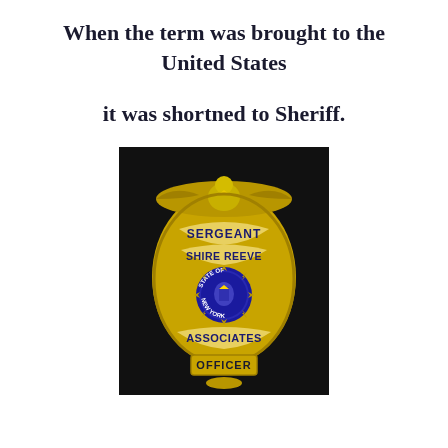When the term was brought to the United States
it was shortned to Sheriff.
[Figure (photo): A gold law enforcement badge reading 'SERGEANT SHIRE REEVE ASSOCIATES OFFICER' with a State of New York seal in the center, against a black background.]